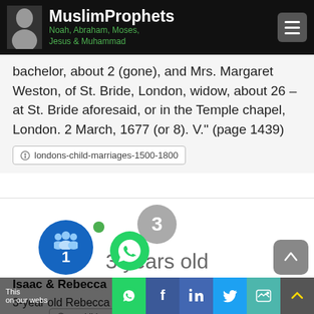MuslimProphets — Noah, Abraham, Moses, Jesus & Muhammad
bachelor, about 2 (gone), and Mrs. Margaret Weston, of St. Bride, London, widow, about 26 – at St. Bride aforesaid, or in the Temple chapel, London. 2 March, 1677 (or 8). V." (page 1439)
londons-child-marriages-1500-1800
[Figure (infographic): Grey circular badge with number 3]
3 years old
Isaac & Rebecca
3-year old Rebecca married off to Isaac, Biblical prophet of 40-years-old
ns-child-marriages-1500-1800